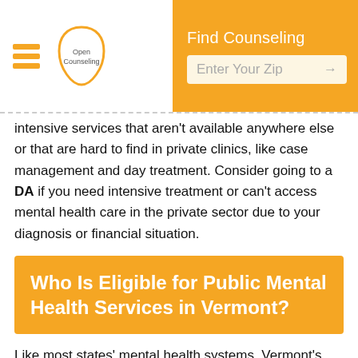Find Counseling | Enter Your Zip
intensive services that aren't available anywhere else or that are hard to find in private clinics, like case management and day treatment. Consider going to a DA if you need intensive treatment or can't access mental health care in the private sector due to your diagnosis or financial situation.
Who Is Eligible for Public Mental Health Services in Vermont?
Like most states' mental health systems, Vermont's mental health system prioritizes people who are uninsured or underinsured and who have limited incomes. However, the Vermont mental health department does not list these or other financial or clinical eligibility requirements on their